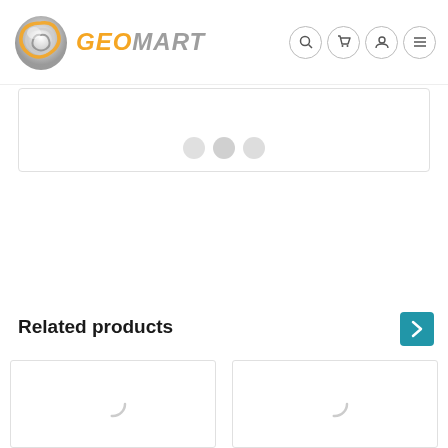GeoMart website header with logo and navigation icons
[Figure (screenshot): GeoMart logo: swirling metallic sphere icon with orange GEO and gray MART text]
[Figure (screenshot): Three circular dot indicators for a carousel]
Related products
[Figure (screenshot): Two product card placeholders with loading spinners]